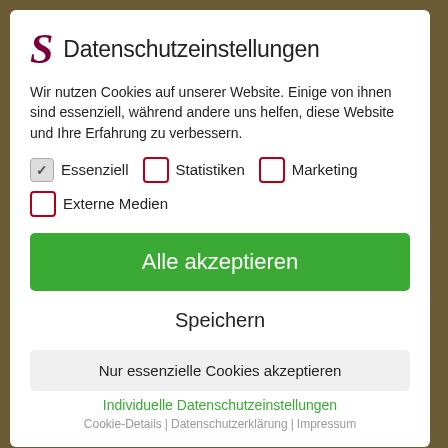Datenschutzeinstellungen
Wir nutzen Cookies auf unserer Website. Einige von ihnen sind essenziell, während andere uns helfen, diese Website und Ihre Erfahrung zu verbessern.
Essenziell (checked), Statistiken (unchecked), Marketing (unchecked)
Externe Medien (unchecked)
Alle akzeptieren
Speichern
Nur essenzielle Cookies akzeptieren
Individuelle Datenschutzeinstellungen
Cookie-Details | Datenschutzerklärung | Impressum